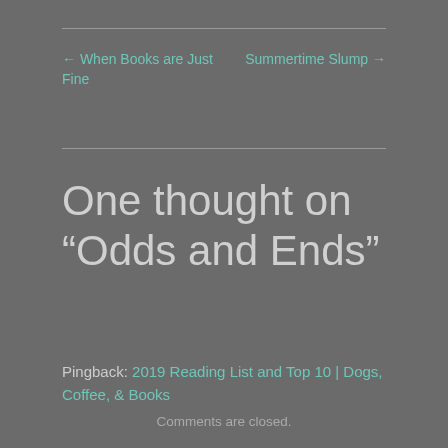← When Books are Just Fine
Summertime Slump →
One thought on “Odds and Ends”
Pingback: 2019 Reading List and Top 10 | Dogs, Coffee, & Books
Comments are closed.